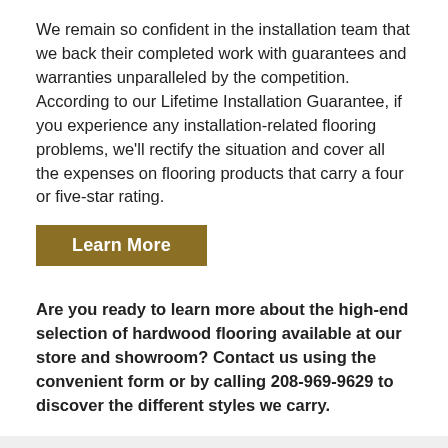We remain so confident in the installation team that we back their completed work with guarantees and warranties unparalleled by the competition. According to our Lifetime Installation Guarantee, if you experience any installation-related flooring problems, we'll rectify the situation and cover all the expenses on flooring products that carry a four or five-star rating.
[Figure (other): Gold/brown button labeled 'Learn More']
Are you ready to learn more about the high-end selection of hardwood flooring available at our store and showroom? Contact us using the convenient form or by calling 208-969-9629 to discover the different styles we carry.
Free Room Measure & $100 Coupon
First Name*